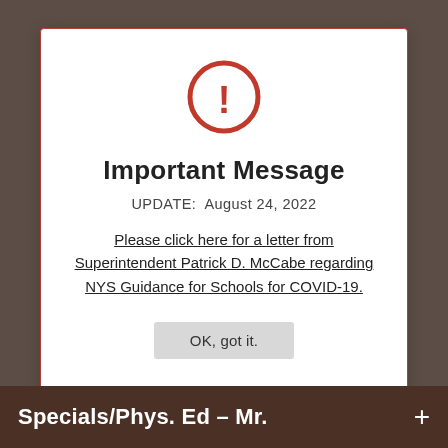[Figure (other): Red circle with exclamation mark warning icon]
Important Message
UPDATE:  August 24, 2022
Please click here for a letter from Superintendent Patrick D. McCabe regarding NYS Guidance for Schools for COVID-19.
OK, got it.
Specials/Phys. Ed – Mr.